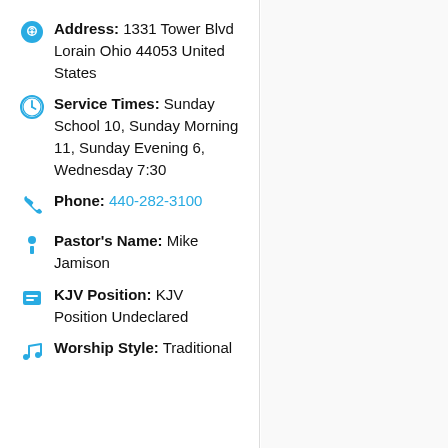Address: 1331 Tower Blvd Lorain Ohio 44053 United States
Service Times: Sunday School 10, Sunday Morning 11, Sunday Evening 6, Wednesday 7:30
Phone: 440-282-3100
Pastor's Name: Mike Jamison
KJV Position: KJV Position Undeclared
Worship Style: Traditional